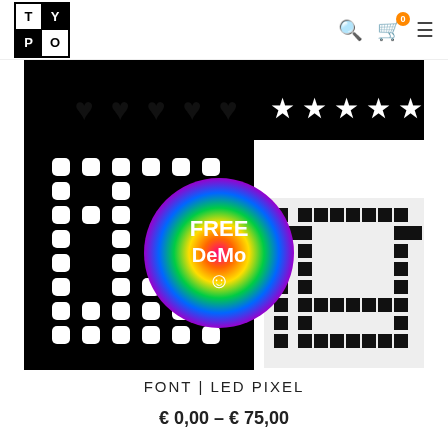TYPO | search | cart 0 | menu
[Figure (screenshot): Product image for FONT LED PIXEL font. Shows two large pixel/LED-style letter glyphs. Left glyph: black background with white hexagonal dot-matrix letters. Right glyph: white background with black square pixel-matrix letters. Overlaid colorful rainbow gradient circle badge reading 'FREE DeMo ☺'. Top left shows five black hearts, top right shows five black stars on black strip.]
FONT | LED PIXEL
€ 0,00 – € 75,00